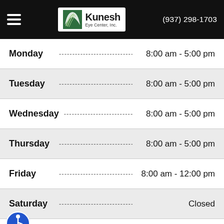Kunesh Eye Center, Inc. — (937) 298-1703
| Day |  | Hours |
| --- | --- | --- |
| Monday | --- | 8:00 am - 5:00 pm |
| Tuesday | --- | 8:00 am - 5:00 pm |
| Wednesday | --- | 8:00 am - 5:00 pm |
| Thursday | --- | 8:00 am - 5:00 pm |
| Friday | --- | 8:00 am - 12:00 pm |
| Saturday | --- | Closed |
| Sunday | --- | Closed |